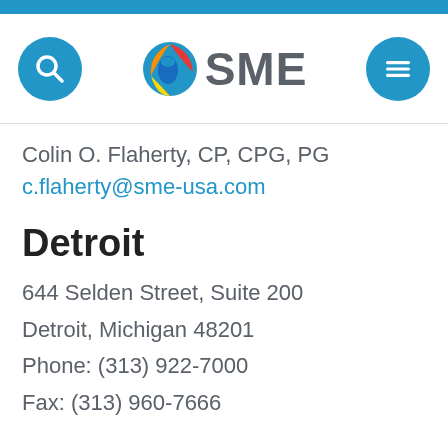[Figure (logo): SME company logo with search button circle on left, SME globe icon and SME text in center, hamburger menu button circle on right, on white background with blue top bar]
Colin O. Flaherty, CP, CPG, PG
c.flaherty@sme-usa.com
Detroit
644 Selden Street, Suite 200
Detroit, Michigan 48201
Phone: (313) 922-7000
Fax: (313) 960-7666